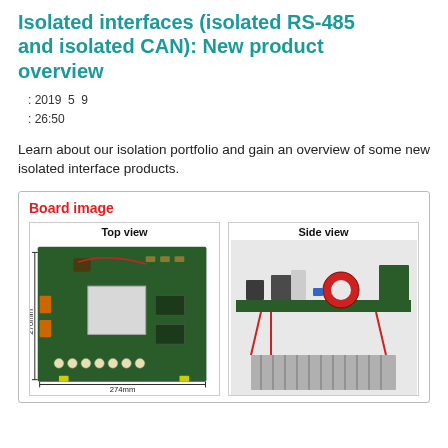Isolated interfaces (isolated RS-485 and isolated CAN): New product overview
: 2019  5  9
: 26:50
Learn about our isolation portfolio and gain an overview of some new isolated interface products.
Board image
[Figure (photo): Top view of an isolated interface evaluation board, green PCB with components, dimensions labeled 270mm x 274mm]
[Figure (photo): Side view of the isolated interface evaluation board showing heatsink and components]